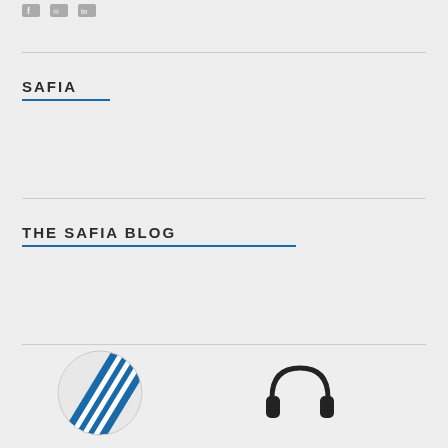[Figure (logo): Social media icons (Facebook, email, LinkedIn) in gray]
SAFIA
THE SAFIA BLOG
[Figure (logo): Globe logo with blue diagonal stripes on left, headphones icon on right]
[Figure (logo): Headphones icon in black]